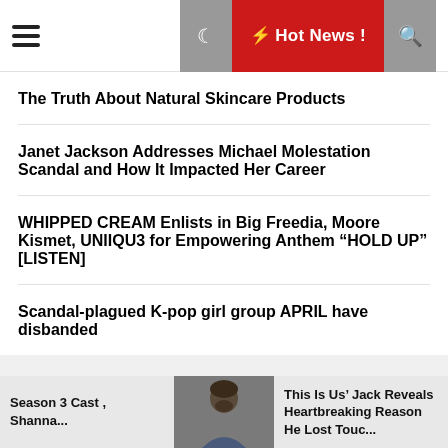Hot News !
The Truth About Natural Skincare Products
Janet Jackson Addresses Michael Molestation Scandal and How It Impacted Her Career
WHIPPED CREAM Enlists in Big Freedia, Moore Kismet, UNIIQU3 for Empowering Anthem “HOLD UP” [LISTEN]
Scandal-plagued K-pop girl group APRIL have disbanded
Categories
Advertising & Marketing
Season 3 Cast , Shanna...
This Is Us’ Jack Reveals Heartbreaking Reason He Lost Touc...